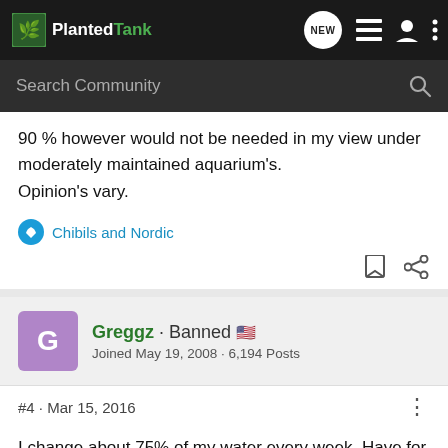PlantedTank - NEW
90 % however would not be needed in my view under moderately maintained aquarium's.
Opinion's vary.
Chibils and Nordic
Greggz · Banned
Joined May 19, 2008 · 6,194 Posts
#4 · Mar 15, 2016
I change about 75% of my water every week. Have for decades. Fish and plants seem to love the water change, and to me it's one of the cornerstones of long lived fish, along with good filtration and good surface agitation. A non auto top...